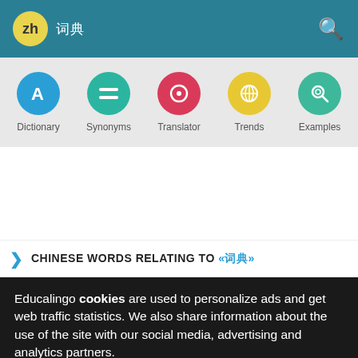zh 词典
[Figure (screenshot): Navigation icon bar with 5 circular icons: Dictionary (blue), Synonyms (teal), Translator (red), Trends (yellow), Examples (green)]
CHINESE WORDS RELATING TO «词典»
Educalingo cookies are used to personalize ads and get web traffic statistics. We also share information about the use of the site with our social media, advertising and analytics partners.
View details   Got it